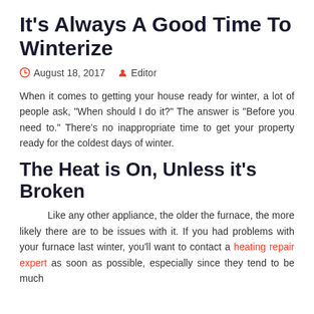It's Always A Good Time To Winterize
August 18, 2017   Editor
When it comes to getting your house ready for winter, a lot of people ask, "When should I do it?" The answer is "Before you need to." There's no inappropriate time to get your property ready for the coldest days of winter.
The Heat is On, Unless it's Broken
Like any other appliance, the older the furnace, the more likely there are to be issues with it. If you had problems with your furnace last winter, you'll want to contact a heating repair expert as soon as possible, especially since they tend to be much